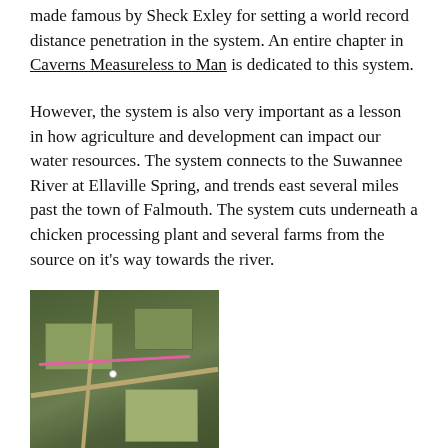...Cathedral Canyon is an extensive system which was made famous by Sheck Exley for setting a world record distance penetration in the system. An entire chapter in Caverns Measureless to Man is dedicated to this system.
However, the system is also very important as a lesson in how agriculture and development can impact our water resources. The system connects to the Suwannee River at Ellaville Spring, and trends east several miles past the town of Falmouth. The system cuts underneath a chicken processing plant and several farms from the source on it's way towards the river.
[Figure (photo): Aerial satellite view of agricultural land near Falmouth, showing fields, roads, and a pink/magenta line tracing the cave system route.]